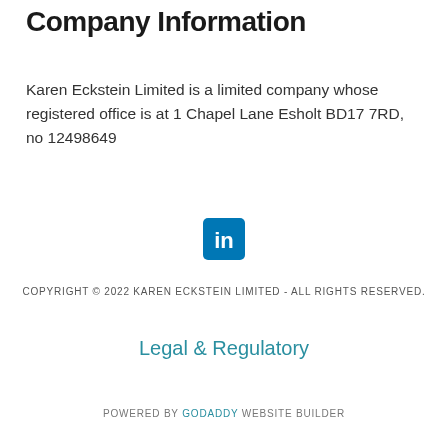Company Information
Karen Eckstein Limited is a limited company whose registered office is at 1 Chapel Lane Esholt BD17 7RD,  no 12498649
[Figure (logo): LinkedIn icon - blue rounded square with white 'in' text]
COPYRIGHT © 2022 KAREN ECKSTEIN LIMITED - ALL RIGHTS RESERVED.
Legal & Regulatory
POWERED BY GODADDY WEBSITE BUILDER